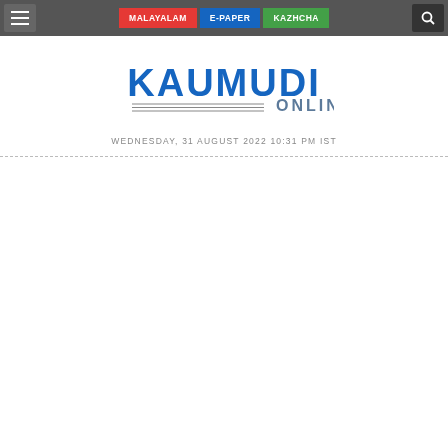MALAYALAM | E-PAPER | KAZHCHA
[Figure (logo): Kaumudi Online logo with blue bold text KAUMUDI above decorative horizontal lines and ONLINE text]
WEDNESDAY, 31 AUGUST 2022 10:31 PM IST